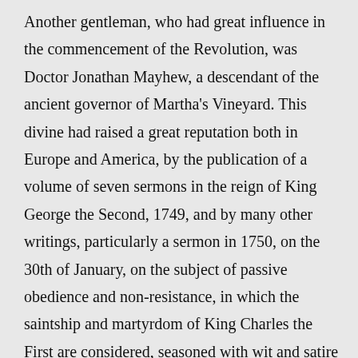Another gentleman, who had great influence in the commencement of the Revolution, was Doctor Jonathan Mayhew, a descendant of the ancient governor of Martha's Vineyard. This divine had raised a great reputation both in Europe and America, by the publication of a volume of seven sermons in the reign of King George the Second, 1749, and by many other writings, particularly a sermon in 1750, on the 30th of January, on the subject of passive obedience and non-resistance, in which the saintship and martyrdom of King Charles the First are considered, seasoned with wit and satire superior to any in Swift or Franklin. It was read by everybody; celebrated by friends, and